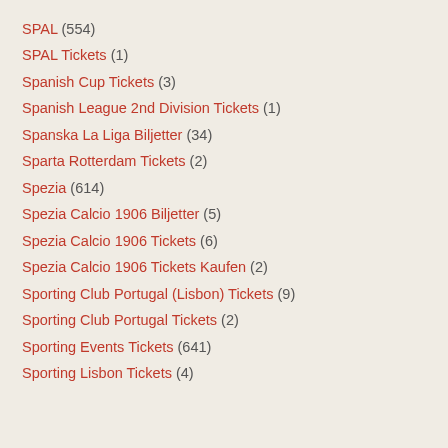SPAL (554)
SPAL Tickets (1)
Spanish Cup Tickets (3)
Spanish League 2nd Division Tickets (1)
Spanska La Liga Biljetter (34)
Sparta Rotterdam Tickets (2)
Spezia (614)
Spezia Calcio 1906 Biljetter (5)
Spezia Calcio 1906 Tickets (6)
Spezia Calcio 1906 Tickets Kaufen (2)
Sporting Club Portugal (Lisbon) Tickets (9)
Sporting Club Portugal Tickets (2)
Sporting Events Tickets (641)
Sporting Lisbon Tickets (4)